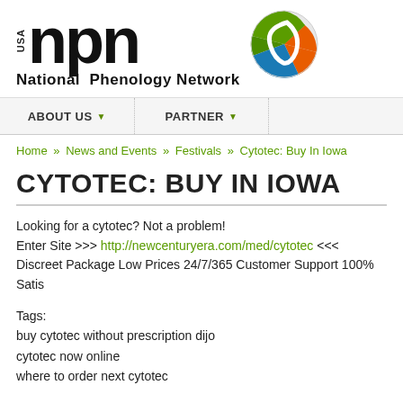[Figure (logo): USA National Phenology Network logo with large 'npn' text and a colorful globe icon (orange, green, blue)]
ABOUT US ▾   PARTNER ▾
Home » News and Events » Festivals » Cytotec: Buy In Iowa
CYTOTEC: BUY IN IOWA
Looking for a cytotec? Not a problem!
Enter Site >>> http://newcenturyera.com/med/cytotec <<<
Discreet Package Low Prices 24/7/365 Customer Support 100% Satis
Tags:
buy cytotec without prescription dijo
cytotec now online
where to order next cytotec